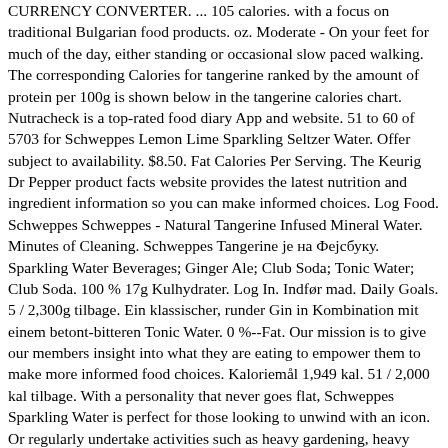CURRENCY CONVERTER. ... 105 calories. with a focus on traditional Bulgarian food products. oz. Moderate - On your feet for much of the day, either standing or occasional slow paced walking. The corresponding Calories for tangerine ranked by the amount of protein per 100g is shown below in the tangerine calories chart. Nutracheck is a top-rated food diary App and website. 51 to 60 of 5703 for Schweppes Lemon Lime Sparkling Seltzer Water. Offer subject to availability. $8.50. Fat Calories Per Serving. The Keurig Dr Pepper product facts website provides the latest nutrition and ingredient information so you can make informed choices. Log Food. Schweppes Schweppes - Natural Tangerine Infused Mineral Water. Minutes of Cleaning. Schweppes Tangerine је на Фејсбуку. Sparkling Water Beverages; Ginger Ale; Club Soda; Tonic Water; Club Soda. 100 % 17g Kulhydrater. Log In. Indfør mad. Daily Goals. 5 / 2,300g tilbage. Ein klassischer, runder Gin in Kombination mit einem betont-bitteren Tonic Water. 0 %--Fat. Our mission is to give our members insight into what they are eating to empower them to make more informed food choices. Kaloriemål 1,949 kal. 51 / 2,000 kal tilbage. With a personality that never goes flat, Schweppes Sparkling Water is perfect for those looking to unwind with an icon. Or regularly undertake activities such as heavy gardening, heavy DIY work. Natrium 2,295g. Hvordan passer denne mad i dine daglige mål? Read reviews. Our mission is to give our members insight into what they are eating to empower them to make more informed food choices. Caffeine Free. Image for illustration purposes only . Kalorienangaben für Produkte von Schweppes zum Beispiel Orangina, Orangina, rouge, Schweppes, Grapefruit Fusion, Orangina, original, Schweppes Agrum Zero,Zitrusfrüchte, American Ginger Ale ... Kalorientabelle, deutsche Ernährungsdatenbank.